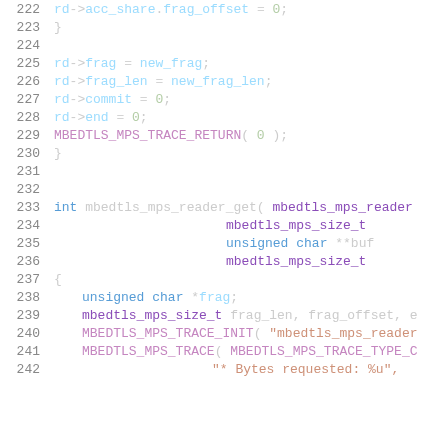Source code listing, lines 222-242, C code for mbedtls_mps_reader_get function
222    rd->acc_share.frag_offset = 0;
223    }
224
225    rd->frag = new_frag;
226    rd->frag_len = new_frag_len;
227    rd->commit = 0;
228    rd->end = 0;
229    MBEDTLS_MPS_TRACE_RETURN( 0 );
230    }
231
232
233    int mbedtls_mps_reader_get( mbedtls_mps_reader
234                                mbedtls_mps_size_t
235                                unsigned char **buf
236                                mbedtls_mps_size_t
237    {
238        unsigned char *frag;
239        mbedtls_mps_size_t frag_len, frag_offset, e
240        MBEDTLS_MPS_TRACE_INIT( "mbedtls_mps_reader
241        MBEDTLS_MPS_TRACE( MBEDTLS_MPS_TRACE_TYPE_C
242                           "* Bytes requested: %u",